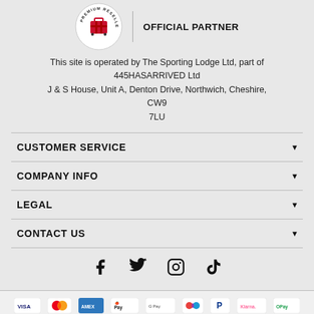[Figure (logo): Premium Reseller badge circle logo with red luggage icon, and OFFICIAL PARTNER text to the right with a vertical divider]
This site is operated by The Sporting Lodge Ltd, part of 445HASARRIVED Ltd
J & S House, Unit A, Denton Drive, Northwich, Cheshire, CW9 7LU
CUSTOMER SERVICE
COMPANY INFO
LEGAL
CONTACT US
[Figure (logo): Social media icons row: Facebook, Twitter, Instagram, TikTok]
[Figure (logo): Payment method icons: VISA, Mastercard, AMEX, Apple Pay, Google Pay, unknown circle, PayPal, Klarna, OPay]